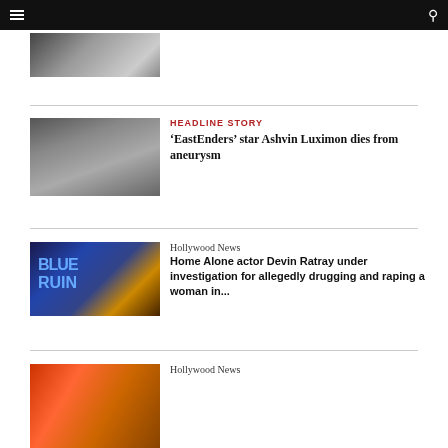Navigation bar with menu and search icons
[Figure (photo): Partial photo of people in formal attire, top of page]
[Figure (photo): Black and white portrait of a young man, Ashvin Luximon]
HEADLINE STORY
'EastEnders' star Ashvin Luximon dies from aneurysm
[Figure (photo): Photo of a man in black suit standing in front of a Blue Ruin movie poster]
Hollywood News
Home Alone actor Devin Ratray under investigation for allegedly drugging and raping a woman in...
[Figure (photo): Partial colorful photo at bottom of page]
Hollywood News